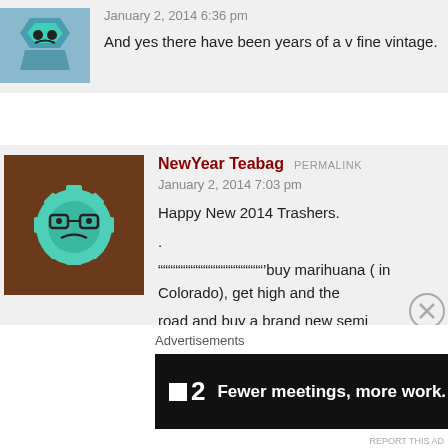January 2, 2014 6:36 pm
And yes there have been years of a v fine vintage.
[Figure (illustration): User avatar: gear/robot icon with glasses and frown face on brown background]
NewYear Teabag PERMALINK
January 2, 2014 7:03 pm
Happy New 2014 Trashers.
.
“““““““““““““““““““““’buy marihuana ( in Colorado), get high and the road and buy a brand new semi automatic.”””””””””””
stoners don`t work`em-selves into agro walrus, roids and ice wil
.
[Figure (screenshot): Advertisement banner: dark background with Plan logo and text 'Fewer meetings, more work.']
Advertisements